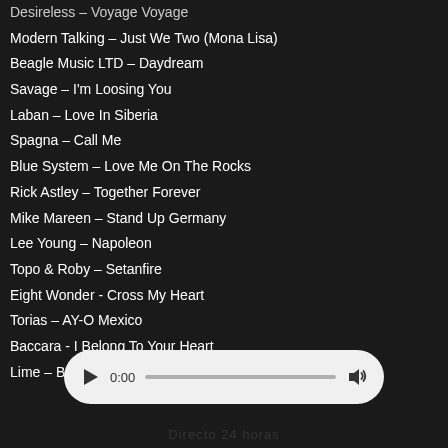Desireless – Voyage Voyage
Modern Talking – Just We Two (Mona Lisa)
Beagle Music LTD – Daydream
Savage – I'm Loosing You
Laban – Love In Siberia
Spagna – Call Me
Blue System – Love Me On The Rocks
Rick Astley – Together Forever
Mike Mareen – Stand Up Germany
Lee Young – Napoleon
Topo & Roby – Setanfire
Eight Wonder - Cross My Heart
Torias – AY-O Mexico
Baccara - I Belong To Your Heart
Lime – Babe, We're Gonna Love Tonite
[Figure (screenshot): Audio player bar showing play button, time 0:00, progress bar, and volume icon on a light rounded rectangle background]
Directo 24 horas